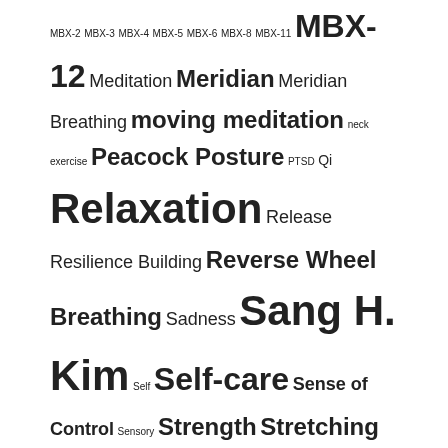MBX-2 MBX-3 MBX-4 MBX-5 MBX-6 MBX-8 MBX-11 MBX-12 Meditation Meridian Meridian Breathing moving meditation neck exercise Peacock Posture PTSD Qi Relaxation Release Resilience Building Reverse Wheel Breathing Sadness Sang H. Kim Self Self-care Sense of Control Sensory Strength Stretching Toning Twins Posture Visualization Vitality warm-up
Archives
February 2017
November 2016
October 2016
July 2016
June 2016
March 2016